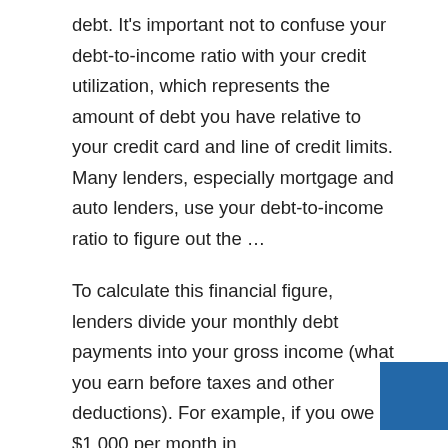debt. It's important not to confuse your debt-to-income ratio with your credit utilization, which represents the amount of debt you have relative to your credit card and line of credit limits. Many lenders, especially mortgage and auto lenders, use your debt-to-income ratio to figure out the …
To calculate this financial figure, lenders divide your monthly debt payments into your gross income (what you earn before taxes and other deductions). For example, if you owe $1,000 per month in …
Copy Of Deed Of Trust Authorization For Prior Employer To Release Information WC-126 Authorization to Release Information must be used submit your request. You may submit the original or